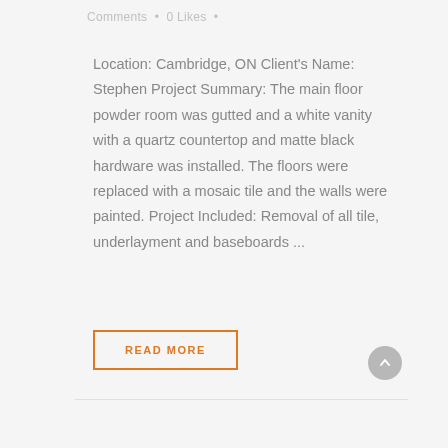Comments • 0 Likes •
Location: Cambridge, ON Client's Name: Stephen Project Summary: The main floor powder room was gutted and a white vanity with a quartz countertop and matte black hardware was installed. The floors were replaced with a mosaic tile and the walls were painted. Project Included: Removal of all tile, underlayment and baseboards ...
READ MORE